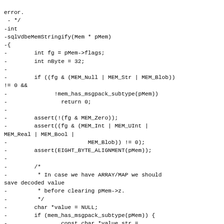error.
 - */
-int
-sqlVdbeMemStringify(Mem * pMem)
-{
-        int fg = pMem->flags;
-        int nByte = 32;
-
-        if ((fg & (MEM_Null | MEM_Str | MEM_Blob)) != 0 &&
-              !mem_has_msgpack_subtype(pMem))
-                return 0;
-
-        assert(!(fg & MEM_Zero));
-        assert((fg & (MEM_Int | MEM_UInt | MEM_Real | MEM_Bool |
-                              MEM_Blob)) != 0);
-        assert(EIGHT_BYTE_ALIGNMENT(pMem));
-
-        /*
-         * In case we have ARRAY/MAP we should save decoded value
-         * before clearing pMem->z.
-         */
-        char *value = NULL;
-        if (mem_has_msgpack_subtype(pMem)) {
-                const char *value_str =
 mp_str(pMem->z);
-                nByte = strlen(value_str) + 1;
-                value = region_alloc(&fiber()->gc,
 nByte);